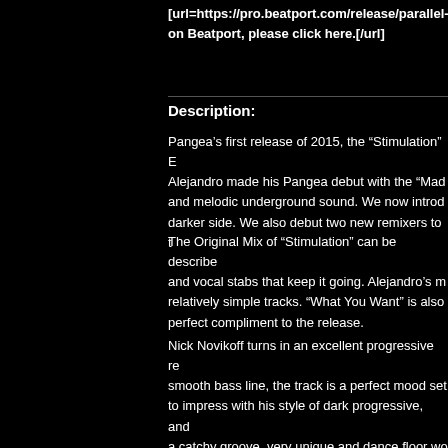[url=https://pro.beatport.com/release/parallel- on Beatport, please click here.[/url]
Description:
Pangea’s first release of 2015, the “Stimulation” EP. Alejandro made his Pangea debut with the “Mad…” and melodic underground sound. We now introd… darker side. We also debut two new remixers to t…
The Original Mix of “Stimulation” can be describe… and vocal stabs that keep it going. Alejandro’s m… relatively simple tracks. “What You Want” is also… perfect compliment to the release.
Nick Novikoff turns in an excellent progressive re… smooth bass line, the track is a perfect mood set… to impress with his style of dark progressive, and… a catchy groove, very unique and dance floor wo… find producers.